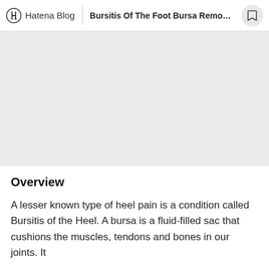Hatena Blog | Bursitis Of The Foot Bursa Remova...
[Figure (photo): Gray placeholder image area representing a photo related to bursitis of the foot]
Overview
A lesser known type of heel pain is a condition called Bursitis of the Heel. A bursa is a fluid-filled sac that cushions the muscles, tendons and bones in our joints. It